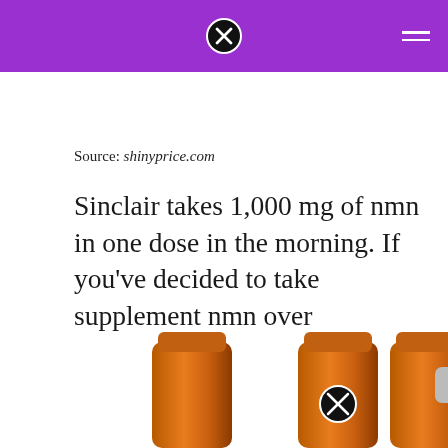shinyprice.com header with close icon and hamburger menu
Source: shinyprice.com
Sinclair takes 1,000 mg of nmn in one dose in the morning. If you've decided to take supplement nmn over nicotinamide riboside “nr” , dr david sinclair has some advice for you.
[Figure (photo): Three amber/orange supplement bottles partially visible at the bottom of the page, one with a circular close icon overlay in the center]